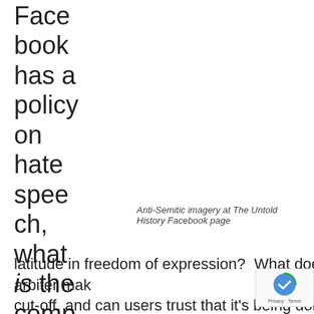Face book has a policy on hate speech, what is the company's standard ard for latitude in freedom of expression?  What doesn't get to remain on Facebook?  Where does the arbiter make the cut-off, and can users trust that it's being done fairly? This week, we have been given a unique opportunity to have a conversation with a distinctly honest Facebook...
Anti-Semitic imagery at The Untold History Facebook page